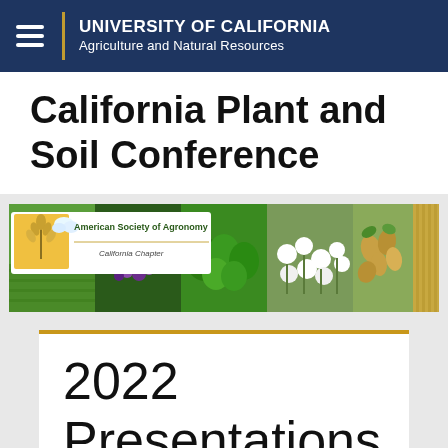UNIVERSITY OF CALIFORNIA Agriculture and Natural Resources
California Plant and Soil Conference
[Figure (illustration): Banner image for American Society of Agronomy California Chapter, showing collage of agricultural crops: rice paddies, grapes, leafy greens, cotton, almonds, and field rows]
2022 Presentations